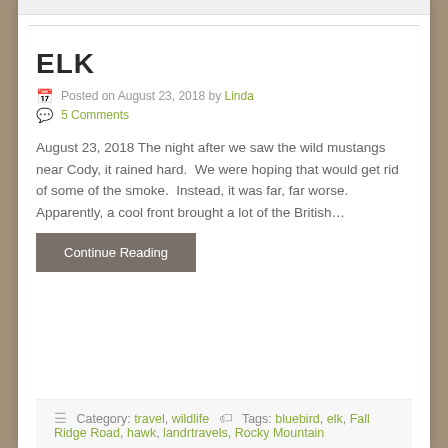ELK
Posted on August 23, 2018 by Linda
5 Comments
August 23, 2018 The night after we saw the wild mustangs near Cody, it rained hard.  We were hoping that would get rid of some of the smoke.  Instead, it was far, far worse.  Apparently, a cool front brought a lot of the British…
Continue Reading
Category: travel, wildlife  Tags: bluebird, elk, Fall Ridge Road, hawk, landrtravels, Rocky Mountain